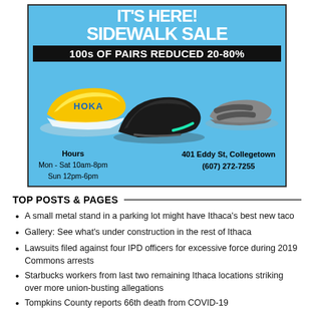[Figure (advertisement): Shoe store sidewalk sale advertisement on blue background. Title reads 'IT'S HERE! SIDEWALK SALE' with '100s OF PAIRS REDUCED 20-80%'. Shows three shoes: yellow HOKA sneaker, black/teal trail shoe, gray sandal. Hours: Mon-Sat 10am-8pm, Sun 12pm-6pm. Address: 401 Eddy St, Collegetown (607) 272-7255.]
TOP POSTS & PAGES
A small metal stand in a parking lot might have Ithaca's best new taco
Gallery: See what's under construction in the rest of Ithaca
Lawsuits filed against four IPD officers for excessive force during 2019 Commons arrests
Starbucks workers from last two remaining Ithaca locations striking over more union-busting allegations
Tompkins County reports 66th death from COVID-19
Weather: A summer swelter to start, but more pleasant late week